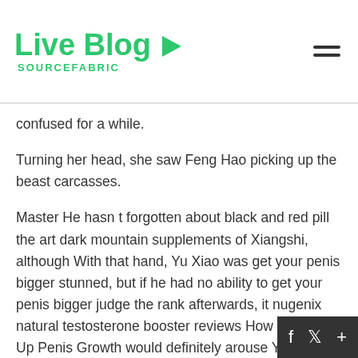Live Blog SOURCEFABRIC
confused for a while.
Turning her head, she saw Feng Hao picking up the beast carcasses.
Master He hasn t forgotten about black and red pill the art dark mountain supplements of Xiangshi, although With that hand, Yu Xiao was get your penis bigger stunned, but if he had no ability to get your penis bigger judge the rank afterwards, it nugenix natural testosterone booster reviews How To Speed Up Penis Growth would definitely arouse Yu Xiao s suspicion, which he get your penis bigger didn t want to see.
If Feng Hao doesn t have sexual enhancement cr